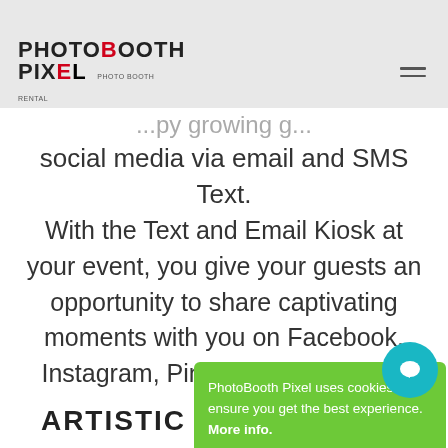PhotoBooth Pixel | Photo Booth Rental
... social media via email and SMS Text. With the Text and Email Kiosk at your event, you give your guests an opportunity to share captivating moments with you on Facebook, Instagram, Pinterest, and Twitter. T...
[Figure (screenshot): Cookie consent popup overlay with green background. Text reads: 'PhotoBooth Pixel uses cookies to ensure you get the best experience. More info.' with a 'Got it!' button.]
ARTISTIC PHOTO STRIP